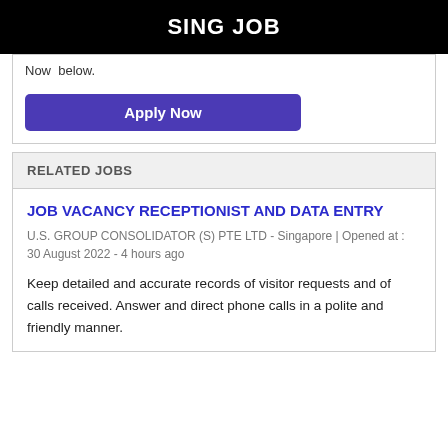SING JOB
Now  below.
Apply Now
RELATED JOBS
JOB VACANCY RECEPTIONIST AND DATA ENTRY
U.S. GROUP CONSOLIDATOR (S) PTE LTD - Singapore | Opened at : 30 August 2022 - 4 hours ago
Keep detailed and accurate records of visitor requests and of calls received. Answer and direct phone calls in a polite and friendly manner.